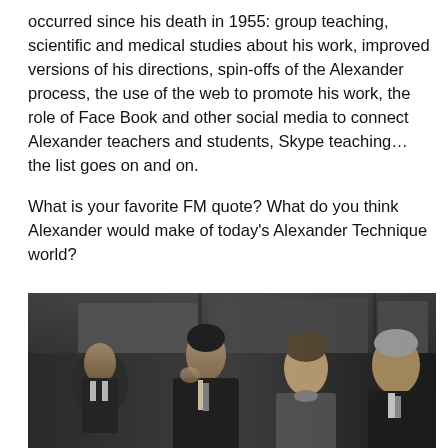occurred since his death in 1955: group teaching, scientific and medical studies about his work, improved versions of his directions, spin-offs of the Alexander process, the use of the web to promote his work, the role of Face Book and other social media to connect Alexander teachers and students, Skype teaching…the list goes on and on.
What is your favorite FM quote? What do you think Alexander would make of today's Alexander Technique world?
I'd love to hear your thoughts.
And today let's celebrate!
[Figure (photo): Black and white photograph showing four people seated, appearing to be from mid-20th century. Two men and one woman visible clearly, with another figure on the right edge.]